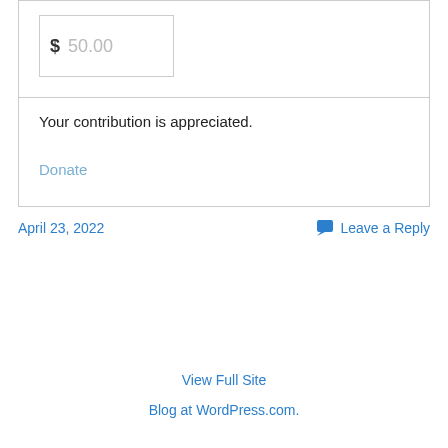[Figure (screenshot): A donation input field with dollar sign and placeholder amount 50.00 inside a bordered box, with a horizontal divider, text 'Your contribution is appreciated.' and a 'Donate' link.]
Your contribution is appreciated.
Donate
April 23, 2022
Leave a Reply
View Full Site
Blog at WordPress.com.